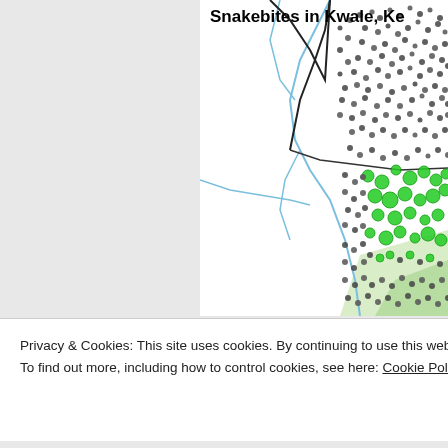Snakebites in Kwale, Ke
[Figure (map): Map showing snakebites in Kwale, Kenya region with dense clusters of dark grey and green dots representing bite locations. Blue lines indicate rivers/waterways. Black lines indicate roads. Green shaded areas visible in lower right. High density of dots across the map area.]
Privacy & Cookies: This site uses cookies. By continuing to use this website, you agree to their use.
To find out more, including how to control cookies, see here: Cookie Policy
Close and accept